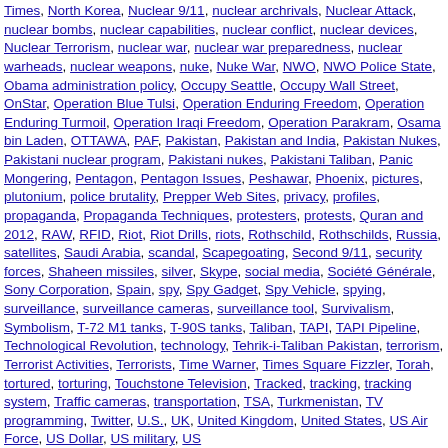Times, North Korea, Nuclear 9/11, nuclear archrivals, Nuclear Attack, nuclear bombs, nuclear capabilities, nuclear conflict, nuclear devices, Nuclear Terrorism, nuclear war, nuclear war preparedness, nuclear warheads, nuclear weapons, nuke, Nuke War, NWO, NWO Police State, Obama administration policy, Occupy Seattle, Occupy Wall Street, OnStar, Operation Blue Tulsi, Operation Enduring Freedom, Operation Enduring Turmoil, Operation Iraqi Freedom, Operation Parakram, Osama bin Laden, OTTAWA, PAF, Pakistan, Pakistan and India, Pakistan Nukes, Pakistani nuclear program, Pakistani nukes, Pakistani Taliban, Panic Mongering, Pentagon, Pentagon Issues, Peshawar, Phoenix, pictures, plutonium, police brutality, Prepper Web Sites, privacy, profiles, propaganda, Propaganda Techniques, protesters, protests, Quran and 2012, RAW, RFID, Riot, Riot Drills, riots, Rothschild, Rothschilds, Russia, satellites, Saudi Arabia, scandal, Scapegoating, Second 9/11, security forces, Shaheen missiles, silver, Skype, social media, Société Générale, Sony Corporation, Spain, spy, Spy Gadget, Spy Vehicle, spying, surveillance, surveillance cameras, surveillance tool, Survivalism, Symbolism, T-72 M1 tanks, T-90S tanks, Taliban, TAPI, TAPI Pipeline, Technological Revolution, technology, Tehrik-i-Taliban Pakistan, terrorism, Terrorist Activities, Terrorists, Time Warner, Times Square Fizzler, Torah, tortured, torturing, Touchstone Television, Tracked, tracking, tracking system, Traffic cameras, transportation, TSA, Turkmenistan, TV programming, Twitter, U.S., UK, United Kingdom, United States, US Air Force, US Dollar, US military, US